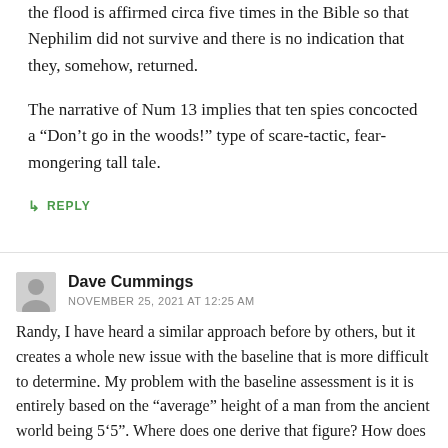the flood is affirmed circa five times in the Bible so that Nephilim did not survive and there is no indication that they, somehow, returned.
The narrative of Num 13 implies that ten spies concocted a “Don’t go in the woods!” type of scare-tactic, fear-mongering tall tale.
↳ REPLY
Dave Cummings
NOVEMBER 25, 2021 AT 12:25 AM
Randy, I have heard a similar approach before by others, but it creates a whole new issue with the baseline that is more difficult to determine. My problem with the baseline assessment is it is entirely based on the “average” height of a man from the ancient world being 5‘5”. Where does one derive that figure? How does someone reach the